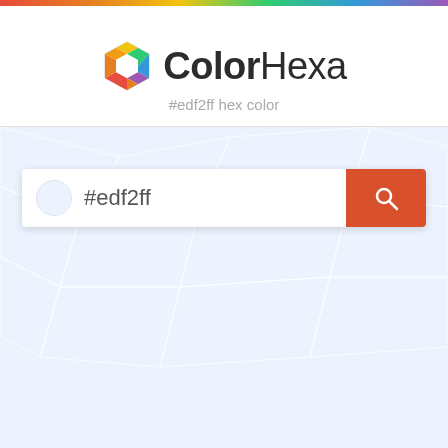[Figure (logo): ColorHexa logo with rainbow hexagon icon and bold/light text]
#edf2ff hex color
[Figure (screenshot): Search input box with #edf2ff text and orange search button on polygon background]